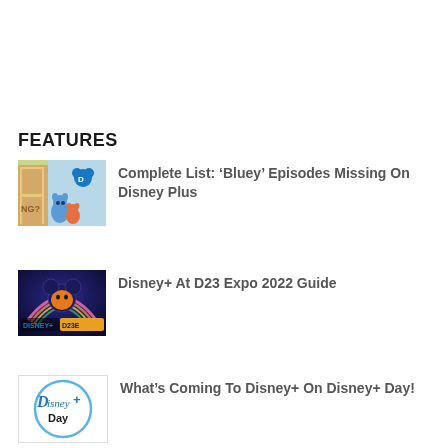FEATURES
Complete List: ‘Bluey’ Episodes Missing On Disney Plus
Disney+ At D23 Expo 2022 Guide
What’s Coming To Disney+ On Disney+ Day!